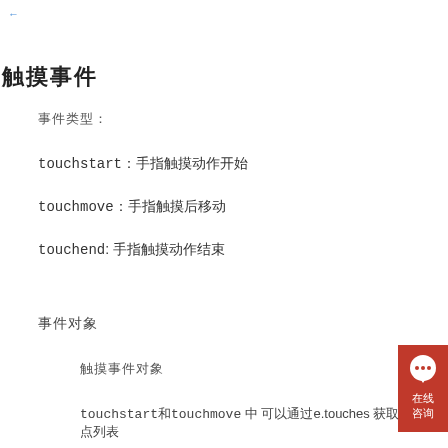←
触摸事件
事件类型:
touchstart：手指触摸动作开始
touchmove：手指触摸后移动
touchend: 手指触摸动作结束
事件对象
触摸事件对象
touchstart和touchmove 中 可以通过e.touches 获取到触碰点列表